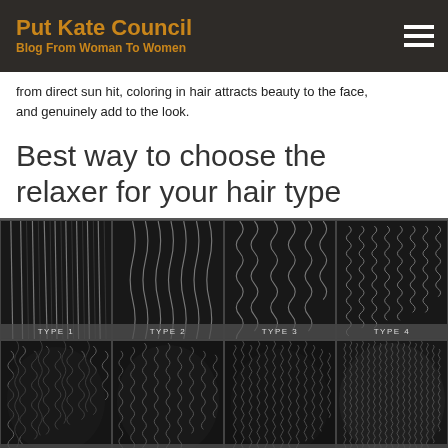Put Kate Council
Blog From Woman To Women
from direct sun hit, coloring in hair attracts beauty to the face, and genuinely add to the look.
Best way to choose the relaxer for your hair type
[Figure (photo): Grid of 8 hair type images labeled TYPE 1 through TYPE 8, showing hair textures from straight (Type 1) to very coily/kinky (Type 8), arranged in 2 rows of 4, black and white photography.]
As the design your composition to the best will mean in and